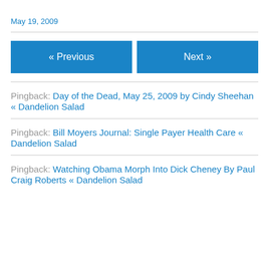May 19, 2009
« Previous
Next »
Pingback: Day of the Dead, May 25, 2009 by Cindy Sheehan « Dandelion Salad
Pingback: Bill Moyers Journal: Single Payer Health Care « Dandelion Salad
Pingback: Watching Obama Morph Into Dick Cheney By Paul Craig Roberts « Dandelion Salad